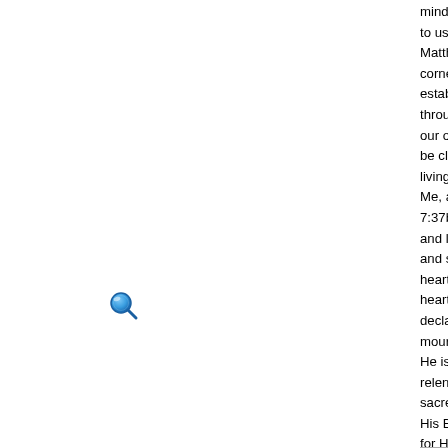[Figure (illustration): Small blue magnifying glass search icon]
mind, and strength (reference Mark 12:30 and L to use the Church (the body of Christ) as salt ar Matthew 5:13-16) will accomplish His purpose c corners of the earth (reference Matthew 28:19-2 establish connection with our Creator Father in throughout the earth. We are living in the midst our own lives have become parched by and pol be cleansed and refreshed with the power of the living God. "If anyone is thirsty, let him come to Me, as the Scripture has said, streams of living 7:37b-38). To allow the Living Water to fully flow and lives from the worldly debris that clutters, cr and simplicity of His promise. We must pray, as heart, for abiding faithfulness, and for enthusias heart, O God, and renew a steadfast spirit withi declares the LORD, 'return to me with all your h mourning. Rend your heart and not your garmen He is gracious and compassionate, slow to ango relents from sending calamity. ...Blow the trump sacred assembly...' " (Joel 2:12-13, 15). This is His Bride (the Church) must awaken and dress; for His arrival. With each individual resolution, a occur. As each single heart fully turns to Him, th will grow louder and stronger, unified in our bolc Lord and Savior! Then, as the Lord promises in they hunger; never again will they thirst. The su scorching heat. For the Lamb at the center of th lead them to springs of Living Water. And God v eyes."